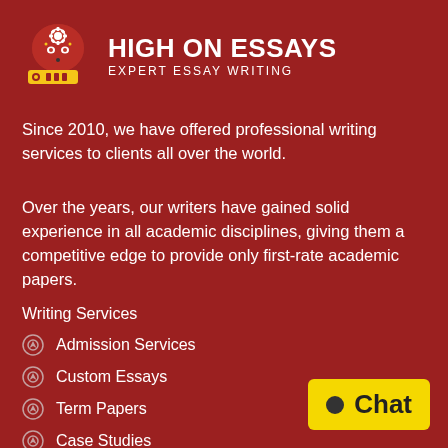[Figure (logo): High On Essays logo - stylized head with gear and pencil icon in red, yellow, and white]
HIGH ON ESSAYS
EXPERT ESSAY WRITING
Since 2010, we have offered professional writing services to clients all over the world.
Over the years, our writers have gained solid experience in all academic disciplines, giving them a competitive edge to provide only first-rate academic papers.
Writing Services
Admission Services
Custom Essays
Term Papers
Case Studies
Research Proposals